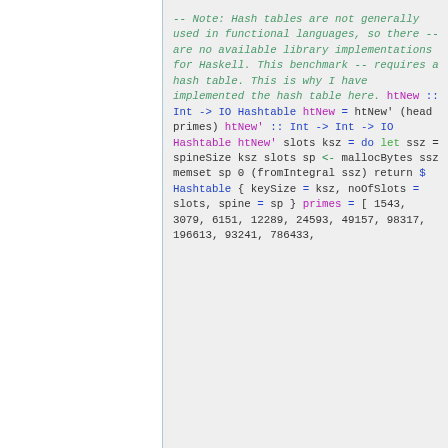-- Note: Hash tables are not generally used in functional languages, so there
-- are no available library implementations for Haskell.  This benchmark
-- requires a hash table.  This is why I have implemented the hash table here.

htNew :: Int -> IO Hashtable
htNew = htNew' (head primes)

htNew' :: Int -> Int -> IO Hashtable
htNew' slots ksz = do
    let ssz = spineSize ksz slots
    sp <- mallocBytes ssz
    memset sp 0 (fromIntegral ssz)
    return $ Hashtable {
            keySize   = ksz,
            noOfSlots = slots,
            spine     = sp
        }

primes = [ 1543,    3079,
6151,       12289,    24593,
            49157,   98317,
196613,   93241,   786433,